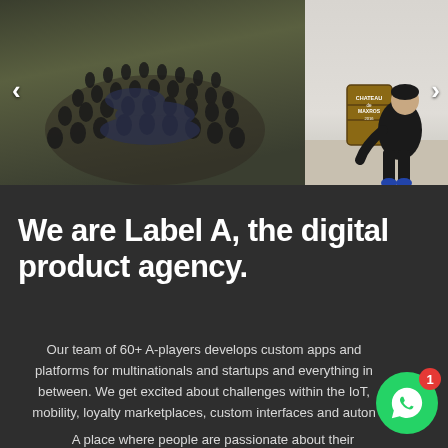[Figure (photo): Aerial/overhead photo of a large group of people gathered outdoors on grass/dirt, with navigation arrows on left side]
[Figure (photo): Photo of a person sitting with a wooden barrel/crate visible with text 'CHATEAU de MAXROS 2016', navigation arrow on right side]
We are Label A, the digital product agency.
Our team of 60+ A-players develops custom apps and platforms for multinationals and startups and everything in between. We get excited about challenges within the IoT, mobility, loyalty marketplaces, custom interfaces and auton
A place where people are passionate about their